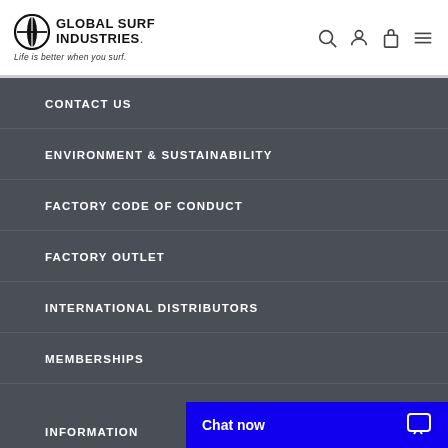Global Surf Industries — Life is better when you surf.
CONTACT US
ENVIRONMENT & SUSTAINABILITY
FACTORY CODE OF CONDUCT
FACTORY OUTLET
INTERNATIONAL DISTRIBUTORS
MEMBERSHIPS
INFORMATION
Chat now